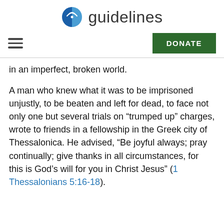guidelines
in an imperfect, broken world.
A man who knew what it was to be imprisoned unjustly, to be beaten and left for dead, to face not only one but several trials on “trumped up” charges, wrote to friends in a fellowship in the Greek city of Thessalonica. He advised, “Be joyful always; pray continually; give thanks in all circumstances, for this is God’s will for you in Christ Jesus” (1 Thessalonians 5:16-18).